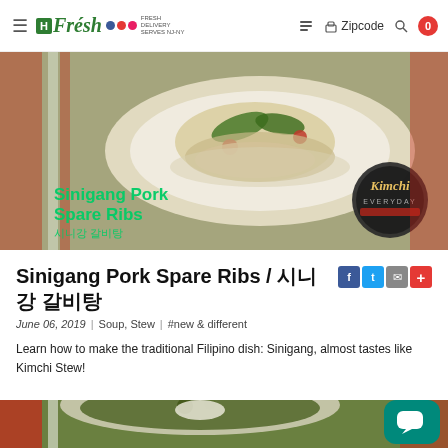H Fresh | FRESH DELIVERY SERVES NJ-NY | Zipcode | Search | Cart 0
[Figure (photo): Hero food photo: Sinigang Pork Spare Ribs dish in a white bowl on red-striped cloth with vegetables. Text overlay reads: 'Sinigang Pork Spare Ribs / 시니강 갈비탕'. Kimchi Everyday logo badge visible in bottom-right.]
Sinigang Pork Spare Ribs / 시니강 갈비탕
June 06, 2019  |  Soup, Stew  |  #new & different
Learn how to make the traditional Filipino dish: Sinigang, almost tastes like Kimchi Stew!
[Figure (photo): Partial bottom photo showing a bowl of Sinigang stew on a red-striped cloth background.]